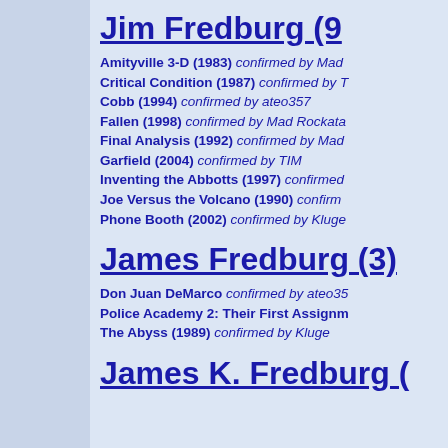Jim Fredburg (9…
Amityville 3-D (1983) confirmed by Mad…
Critical Condition (1987) confirmed by T…
Cobb (1994) confirmed by ateo357
Fallen (1998) confirmed by Mad Rockata…
Final Analysis (1992) confirmed by Mad…
Garfield (2004) confirmed by TIM
Inventing the Abbotts (1997) confirmed…
Joe Versus the Volcano (1990) confirm…
Phone Booth (2002) confirmed by Kluge
James Fredburg (3)
Don Juan DeMarco confirmed by ateo35…
Police Academy 2: Their First Assignm…
The Abyss (1989) confirmed by Kluge
James K. Fredburg (…